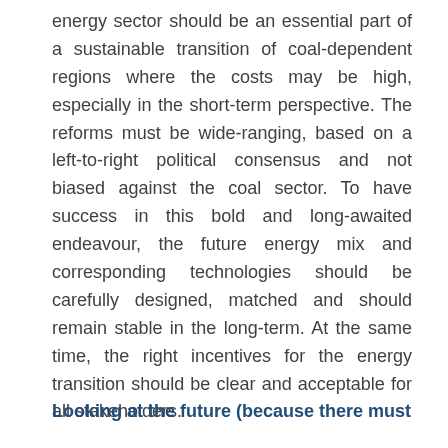energy sector should be an essential part of a sustainable transition of coal-dependent regions where the costs may be high, especially in the short-term perspective. The reforms must be wide-ranging, based on a left-to-right political consensus and not biased against the coal sector. To have success in this bold and long-awaited endeavour, the future energy mix and corresponding technologies should be carefully designed, matched and should remain stable in the long-term. At the same time, the right incentives for the energy transition should be clear and acceptable for all stakeholders.
Looking at the future (because there must